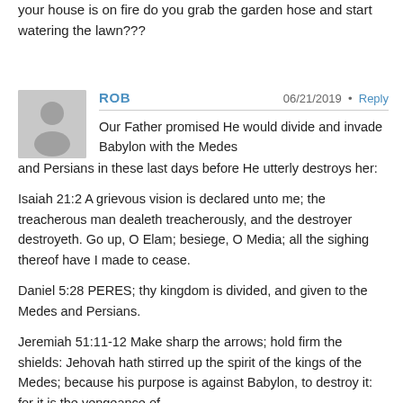your house is on fire do you grab the garden hose and start watering the lawn???
ROB  06/21/2019 • Reply
Our Father promised He would divide and invade Babylon with the Medes and Persians in these last days before He utterly destroys her:
Isaiah 21:2 A grievous vision is declared unto me; the treacherous man dealeth treacherously, and the destroyer destroyeth. Go up, O Elam; besiege, O Media; all the sighing thereof have I made to cease.
Daniel 5:28 PERES; thy kingdom is divided, and given to the Medes and Persians.
Jeremiah 51:11-12 Make sharp the arrows; hold firm the shields: Jehovah hath stirred up the spirit of the kings of the Medes; because his purpose is against Babylon, to destroy it: for it is the vengeance of Jehovah, the vengeance of his temple. (12) Set...